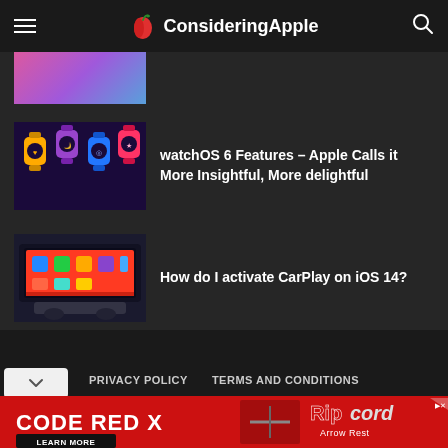ConsideringApple
[Figure (photo): Partially visible thumbnail image at top of article list]
watchOS 6 Features – Apple Calls it More Insightful, More delightful
[Figure (photo): Apple Watch colorful lineup thumbnail]
How do I activate CarPlay on iOS 14?
[Figure (photo): CarPlay interface on car screen thumbnail]
PRIVACY POLICY
TERMS AND CONDITIONS
CONTACT US
ABOUT US
[Figure (photo): Advertisement banner: CODE RED X - Ripcord Arrow Rest - LEARN MORE]